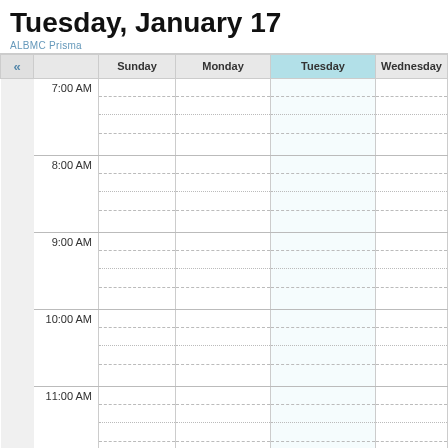Tuesday, January 17
ALBMC Prisma
| « |  | Sunday | Monday | Tuesday | Wednesday |
| --- | --- | --- | --- | --- | --- |
| 7:00 AM |  |  |  |  |  |
| 8:00 AM |  |  |  |  |  |
| 9:00 AM |  |  |  |  |  |
| 10:00 AM |  |  |  |  |  |
| 11:00 AM |  |  |  |  |  |
| 12:00 PM |  |  |  |  |  |
| 1:00 PM |  |  |  |  |  |